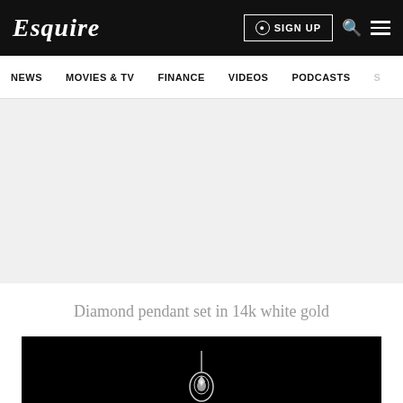Esquire
SIGN UP
NEWS  MOVIES & TV  FINANCE  VIDEOS  PODCASTS
[Figure (photo): Grey advertisement/placeholder area]
Diamond pendant set in 14k white gold
[Figure (photo): Black background product photo showing a diamond pendant]